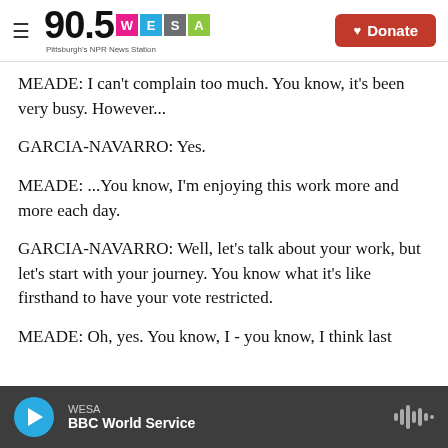90.5 WESA Pittsburgh's NPR News Station | Donate
MEADE: I can't complain too much. You know, it's been very busy. However...
GARCIA-NAVARRO: Yes.
MEADE: ...You know, I'm enjoying this work more and more each day.
GARCIA-NAVARRO: Well, let's talk about your work, but let's start with your journey. You know what it's like firsthand to have your vote restricted.
MEADE: Oh, yes. You know, I - you know, I think last
WESA | BBC World Service